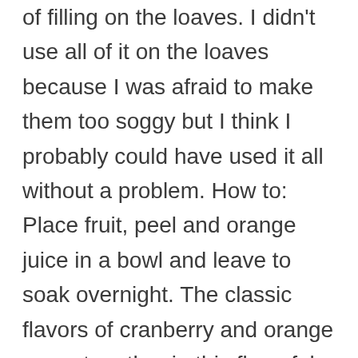of filling on the loaves. I didn't use all of it on the loaves because I was afraid to make them too soggy but I think I probably could have used it all without a problem. How to: Place fruit, peel and orange juice in a bowl and leave to soak overnight. The classic flavors of cranberry and orange come together in this flavorful quick bread recipe. The term "glaze" in the recipe is misleading, as this is really not a glaze at all. Allrecipes is part of the Meredith Food Group. For a festive look, the bread is baked in a tube pan: a 10-cup Bundt, Kugelhopf or other pan with a center tube and decorative shape is ideal. Otherwise it was very good! Remove loaf from oven, but not